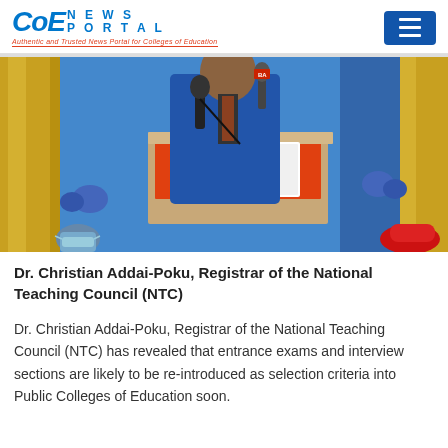CoE NEWS PORTAL — Authentic and Trusted News Portal for Colleges of Education
[Figure (photo): A man in a blue suit speaking at a podium with a microphone, at a formal event with gold and blue curtain decorations in the background.]
Dr. Christian Addai-Poku, Registrar of the National Teaching Council (NTC)
Dr. Christian Addai-Poku, Registrar of the National Teaching Council (NTC) has revealed that entrance exams and interview sections are likely to be re-introduced as selection criteria into Public Colleges of Education soon.